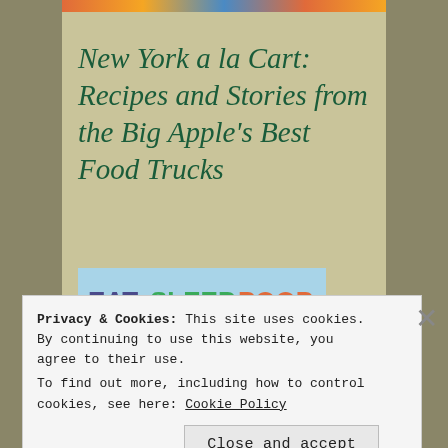New York a la Cart: Recipes and Stories from the Big Apple's Best Food Trucks
[Figure (illustration): Book cover for 'Eat, Sleep, Poop' showing colorful text on a light blue background with a cartoon baby illustration]
Privacy & Cookies: This site uses cookies. By continuing to use this website, you agree to their use.
To find out more, including how to control cookies, see here: Cookie Policy
Close and accept